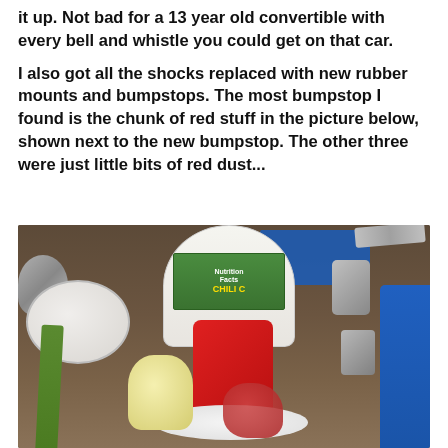it up. Not bad for a 13 year old convertible with every bell and whistle you could get on that car.
I also got all the shocks replaced with new rubber mounts and bumpstops. The most bumpstop I found is the chunk of red stuff in the picture below, shown next to the new bumpstop. The other three were just little bits of red dust...
[Figure (photo): A workbench with various tools and car parts: a white plastic bowl on the left, a Pittsburgh-brand screwdriver, a chili container (food container repurposed), a red plastic container on a white plate/lid, socket wrenches and metal sockets, a blue vise on the right, a new yellow bumpstop (cylindrical rubber part) and an old crumbled red bumpstop beside it.]